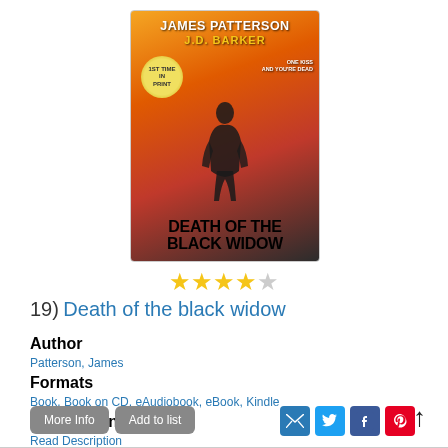[Figure (illustration): Book cover for 'Death of the Black Widow' by James Patterson and J.D. Barker. Cover shows a dark silhouette of a woman against orange/red background. Includes '1st Time in Print' badge and tagline 'One Kiss and You're Dead'.]
[Figure (other): 4 out of 5 star rating displayed as yellow star icons]
19)  Death of the black widow
Author
Patterson, James
Formats
Book, Book on CD, eAudiobook, eBook, Kindle
Description
Read Description